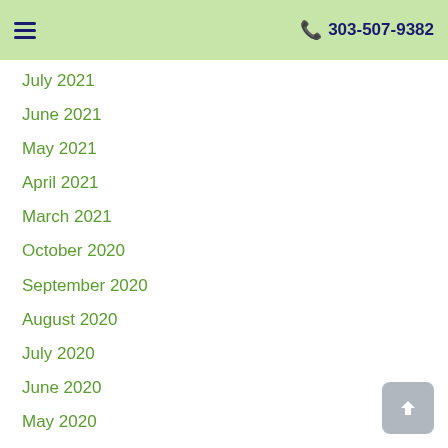☰  303-507-9382
July 2021
June 2021
May 2021
April 2021
March 2021
October 2020
September 2020
August 2020
July 2020
June 2020
May 2020
April 2020
March 2020